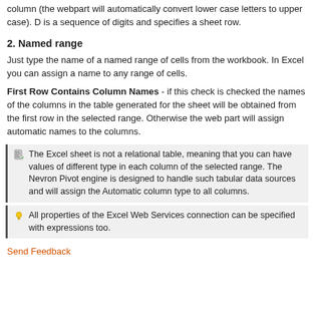column (the webpart will automatically convert lower case letters to upper case). D is a sequence of digits and specifies a sheet row.
2. Named range
Just type the name of a named range of cells from the workbook. In Excel you can assign a name to any range of cells.
First Row Contains Column Names - if this check is checked the names of the columns in the table generated for the sheet will be obtained from the first row in the selected range. Otherwise the web part will assign automatic names to the columns.
The Excel sheet is not a relational table, meaning that you can have values of different type in each column of the selected range. The Nevron Pivot engine is designed to handle such tabular data sources and will assign the Automatic column type to all columns.
All properties of the Excel Web Services connection can be specified with expressions too.
Send Feedback